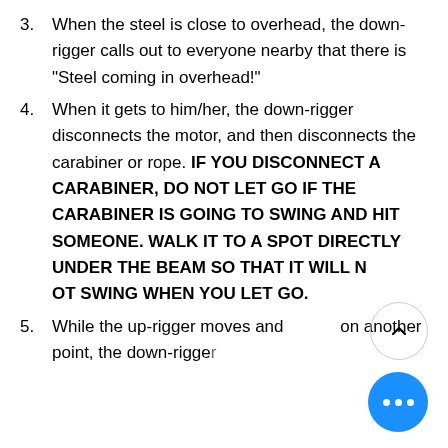3. When the steel is close to overhead, the down-rigger calls out to everyone nearby that there is "Steel coming in overhead!"
4. When it gets to him/her, the down-rigger disconnects the motor, and then disconnects the carabiner or rope. IF YOU DISCONNECT A CARABINER, DO NOT LET GO IF THE CARABINER IS GOING TO SWING AND HIT SOMEONE. WALK IT TO A SPOT DIRECTLY UNDER THE BEAM SO THAT IT WILL NOT SWING WHEN YOU LET GO.
5. While the up-rigger moves and hooks on another point, the down-rigger...